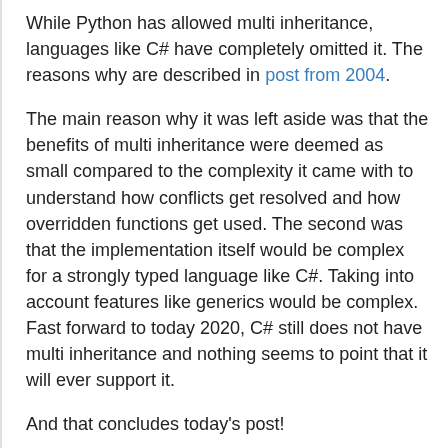While Python has allowed multi inheritance, languages like C# have completely omitted it. The reasons why are described in post from 2004.
The main reason why it was left aside was that the benefits of multi inheritance were deemed as small compared to the complexity it came with to understand how conflicts get resolved and how overridden functions get used. The second was that the implementation itself would be complex for a strongly typed language like C#. Taking into account features like generics would be complex. Fast forward to today 2020, C# still does not have multi inheritance and nothing seems to point that it will ever support it.
And that concludes today's post!
Conclusion